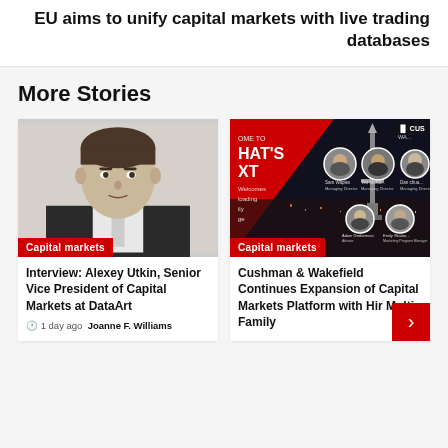EU aims to unify capital markets with live trading databases
More Stories
[Figure (photo): Headshot of Alexey Utkin, a man with dark hair wearing a dark suit jacket, with a red badge reading 'Capital markets']
Interview: Alexey Utkin, Senior Vice President of Capital Markets at DataArt
1 day ago  Joanne F. Williams
[Figure (photo): Event promotional image for Cushman & Wakefield with a red/dark background showing the Seattle Space Needle and circular headshots of speakers, with 'Capital markets' badge]
Cushman & Wakefield Continues Expansion of Capital Markets Platform with Hir Multi-Family